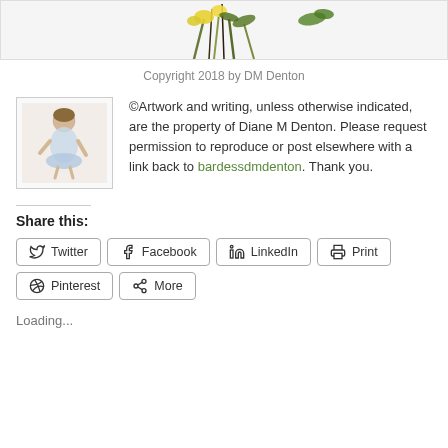[Figure (illustration): Top portion of a floral illustration with yellow and green flowers/leaves, partially cropped at top of page]
Copyright 2018 by DM Denton
[Figure (illustration): Small avatar image of a figure (person with fairy/cherub style illustration) in a bordered box]
©Artwork and writing, unless otherwise indicated, are the property of Diane M Denton. Please request permission to reproduce or post elsewhere with a link back to bardessdmdenton. Thank you.
Share this:
Twitter
Facebook
LinkedIn
Print
Pinterest
More
Loading...